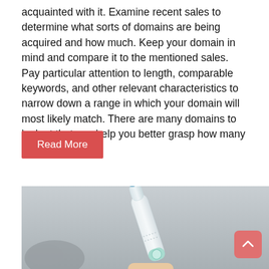acquainted with it. Examine recent sales to determine what sorts of domains are being acquired and how much. Keep your domain in mind and compare it to the mentioned sales. Pay particular attention to length, comparable keywords, and other relevant characteristics to narrow down a range in which your domain will most likely match. There are many domains to look at that can help you better grasp how many different sorts of
Read More
[Figure (photo): A hand holding a white electric toothbrush with a blue bristle head against a grey background. A blurred object is visible in the lower left.]